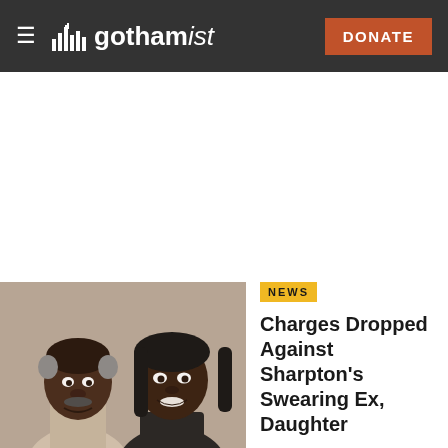gothamist — DONATE
[Figure (photo): Photo of Dominique Sharpton with her father Rev. Al Sharpton — two people smiling at the camera]
NEWS
Charges Dropped Against Sharpton's Swearing Ex, Daughter
Dominique Sharpton with dad Rev. Al Sharpton's ex-wife and daughter are